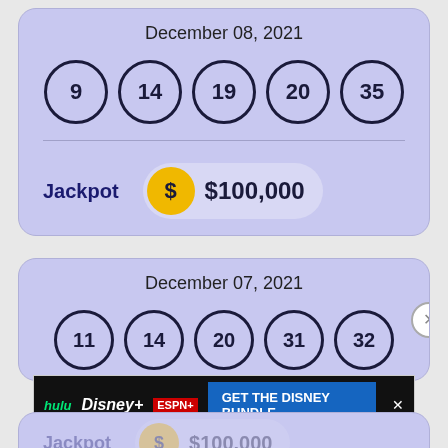December 08, 2021
[Figure (infographic): Five lottery balls with numbers 9, 14, 19, 20, 35]
Jackpot $100,000
December 07, 2021
[Figure (infographic): Five lottery balls with numbers 11, 14, 20, 31, 32]
[Figure (screenshot): Disney Bundle advertisement banner: hulu Disney+ ESPN+ GET THE DISNEY BUNDLE. Incl. Hulu (ad-supported) or Hulu (No Ads). Access content from each service separately. ©2021 Disney and its related entities]
Jackpot $100,000